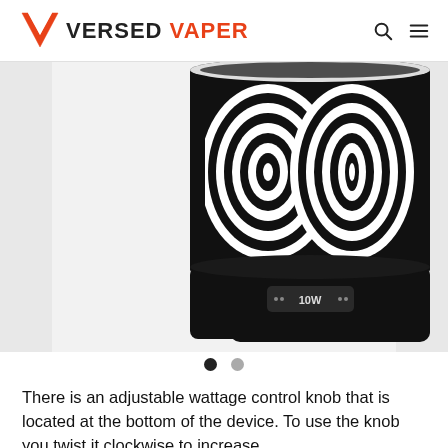VERSED VAPER
[Figure (photo): Close-up photo of a vape device with a black and white psychedelic swirl pattern on the tube body, showing a black base with a wattage indicator reading '10W']
There is an adjustable wattage control knob that is located at the bottom of the device. To use the knob you twist it clockwise to increase